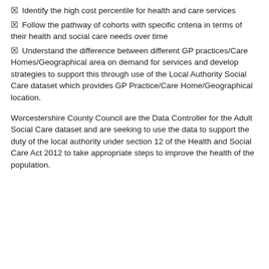Identify the high cost percentile for health and care services
Follow the pathway of cohorts with specific criteria in terms of their health and social care needs over time
Understand the difference between different GP practices/Care Homes/Geographical area on demand for services and develop strategies to support this through use of the Local Authority Social Care dataset which provides GP Practice/Care Home/Geographical location.
Worcestershire County Council are the Data Controller for the Adult Social Care dataset and are seeking to use the data to support the duty of the local authority under section 12 of the Health and Social Care Act 2012 to take appropriate steps to improve the health of the population.